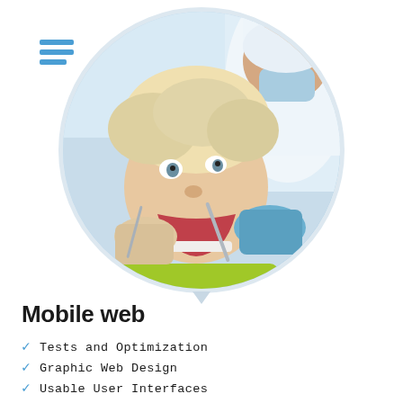[Figure (photo): Hamburger/menu icon with three blue horizontal bars in the top left corner]
[Figure (photo): Circular cropped photo of a young blonde child with mouth open at a dental exam, with a dental professional in mask and gloves using tools, over a light blue/white background]
Mobile web
Tests and Optimization
Graphic Web Design
Usable User Interfaces